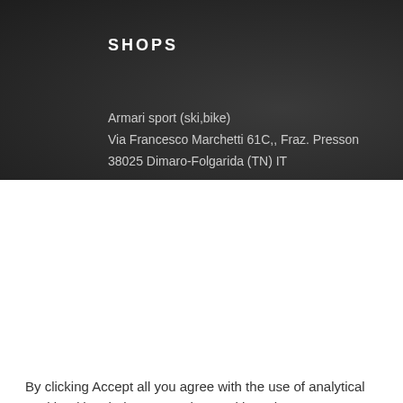SHOPS
Armari sport (ski,bike)
Via Francesco Marchetti 61C,, Fraz. Presson
38025 Dimaro-Folgarida (TN) IT
By clicking Accept all you agree with the use of analytical cookies (they help us to understand how the users use website and how to improve our site and services) and tracking cookies that help decide which product to show you, to measure the volume of visits on our website. By clicking here, you can manage your consent and find more information about the cookies we use. privacy policy.
Manage settings
Accept all